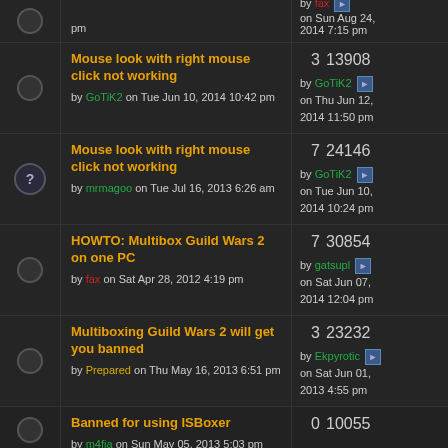Mouse look with right mouse click not working by GoTiK2 on Tue Jun 10, 2014 10:42 pm — 3 replies 13908 views — by GoTiK2 on Thu Jun 12, 2014 11:50 pm
Mouse look with right mouse click not working by mrmagoo on Tue Jul 16, 2013 6:26 am — 7 replies 24146 views — by GoTiK2 on Tue Jun 10, 2014 10:24 pm
HOWTO: Multibox Guild Wars 2 on one PC by fax on Sat Apr 28, 2012 4:19 pm — 7 replies 30854 views — by gatsupl on Sat Jun 07, 2014 12:04 pm
Multiboxing Guild Wars 2 will get you banned by Prepared on Thu May 16, 2013 6:51 pm — 3 replies 23232 views — by Ekpyrotic on Sat Jun 01, 2013 4:55 pm
Banned for using ISBoxer by m4fia on Sun May 05, 2013 5:03 pm — 0 replies 10055 views — by m4fia on Sun May 05, 2013 5:03 pm